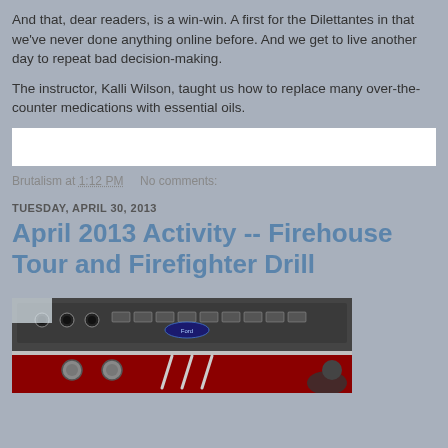And that, dear readers, is a win-win. A first for the Dilettantes in that we've never done anything online before. And we get to live another day to repeat bad decision-making.
The instructor, Kalli Wilson, taught us how to replace many over-the-counter medications with essential oils.
[Figure (other): White blank box (image placeholder)]
Brutalism at 1:12 PM    No comments:
TUESDAY, APRIL 30, 2013
April 2013 Activity -- Firehouse Tour and Firefighter Drill
[Figure (photo): Photo of fire truck interior equipment panel, showing gauges, valves, and firefighting equipment. A firefighter is partially visible at the bottom right.]